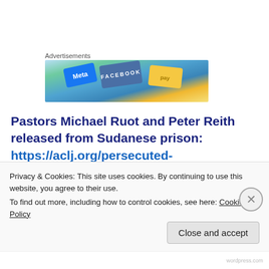Advertisements
[Figure (illustration): Advertisement banner image showing Meta and Facebook branded cards/graphics with colorful overlapping design]
Pastors Michael Ruot and Peter Reith released from Sudanese prison: https://aclj.org/persecuted-church/breaking-christian-pastors-michael-and-peter-released
Pastor Kuwa Shamal released from Sudanese prison:
Privacy & Cookies: This site uses cookies. By continuing to use this website, you agree to their use.
To find out more, including how to control cookies, see here: Cookie Policy
Close and accept